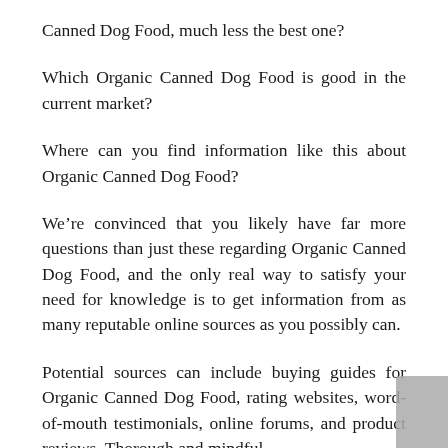Canned Dog Food, much less the best one?
Which Organic Canned Dog Food is good in the current market?
Where can you find information like this about Organic Canned Dog Food?
We're convinced that you likely have far more questions than just these regarding Organic Canned Dog Food, and the only real way to satisfy your need for knowledge is to get information from as many reputable online sources as you possibly can.
Potential sources can include buying guides for Organic Canned Dog Food, rating websites, word-of-mouth testimonials, online forums, and product reviews. Thorough and mindful